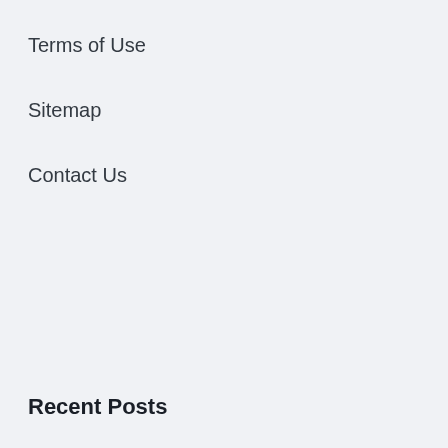Terms of Use
Sitemap
Contact Us
Recent Posts